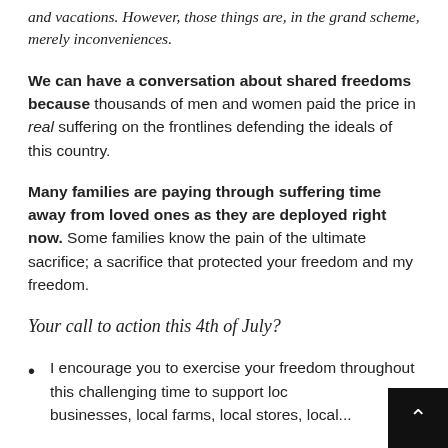and vacations. However, those things are, in the grand scheme, merely inconveniences.
We can have a conversation about shared freedoms because thousands of men and women paid the price in real suffering on the frontlines defending the ideals of this country.
Many families are paying through suffering time away from loved ones as they are deployed right now. Some families know the pain of the ultimate sacrifice; a sacrifice that protected your freedom and my freedom.
Your call to action this 4th of July?
I encourage you to exercise your freedom throughout this challenging time to support local businesses, local farms, local stores, local...